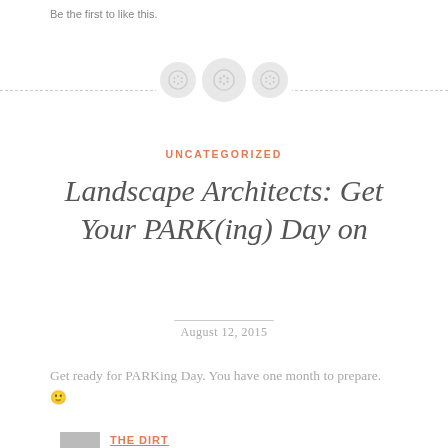Be the first to like this.
[Figure (illustration): Horizontal dashed divider line with three circular button icons centered on it]
UNCATEGORIZED
Landscape Architects: Get Your PARK(ing) Day on
August 12, 2015
Get ready for PARKing Day. You have one month to prepare. 🙂
THE DIRT